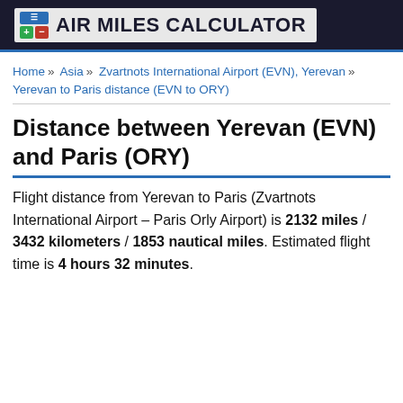AIR MILES CALCULATOR
Home » Asia » Zvartnots International Airport (EVN), Yerevan » Yerevan to Paris distance (EVN to ORY)
Distance between Yerevan (EVN) and Paris (ORY)
Flight distance from Yerevan to Paris (Zvartnots International Airport – Paris Orly Airport) is 2132 miles / 3432 kilometers / 1853 nautical miles. Estimated flight time is 4 hours 32 minutes.